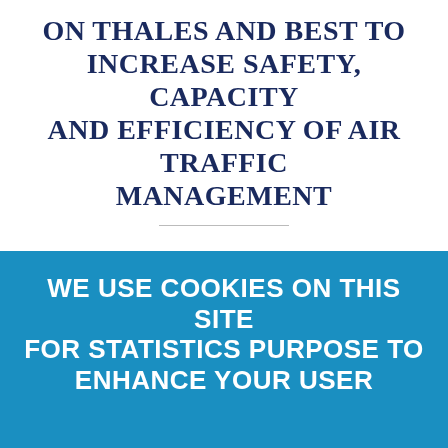ON THALES AND BEST TO INCREASE SAFETY, CAPACITY AND EFFICIENCY OF AIR TRAFFIC MANAGEMENT
25.09.2019
SHARE
Thales and its joint venture BEST provide TopSky-
WE USE COOKIES ON THIS SITE FOR STATISTICS PURPOSE TO ENHANCE YOUR USER